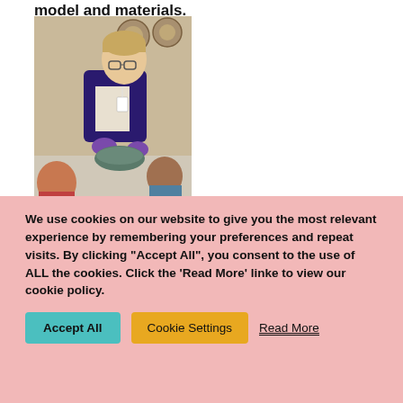model and materials.
[Figure (photo): A man wearing purple gloves and glasses shows artifacts to children gathered around a table. He is holding a dark-colored bowl or vessel. Ancient coins or medallions are visible on the wall behind him.]
We use cookies on our website to give you the most relevant experience by remembering your preferences and repeat visits. By clicking "Accept All", you consent to the use of ALL the cookies. Click the 'Read More' linke to view our cookie policy.
Accept All
Cookie Settings
Read More